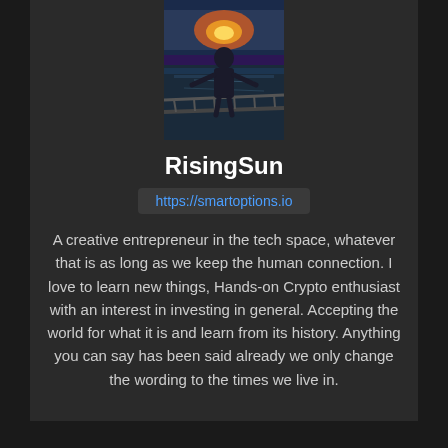[Figure (photo): Profile photo of a person standing on a boardwalk/dock near water at sunset]
RisingSun
https://smartoptions.io
A creative entrepreneur in the tech space, whatever that is as long as we keep the human connection. I love to learn new things, Hands-on Crypto enthusiast with an interest in investing in general. Accepting the world for what it is and learn from its history. Anything you can say has been said already we only change the wording to the times we live in.
218 COMMENTS